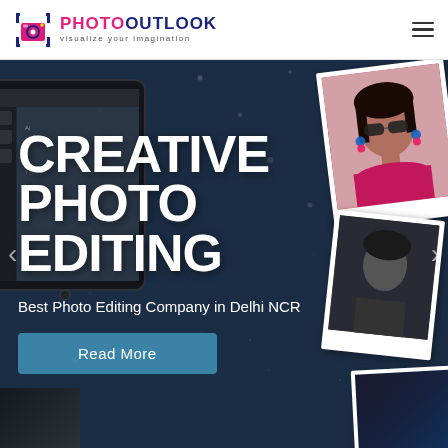[Figure (logo): PhotoOutlook logo with camera icon and tagline 'visualize your imagination']
[Figure (screenshot): Website hero banner with dark blue starry background, tablet/editing software on left, polaroid photo cards on right, large white bold text 'CREATIVE PHOTO EDITING', subtitle 'Best Photo Editing Company in Delhi NCR', and a teal Read More button. Carousel arrows visible on sides.]